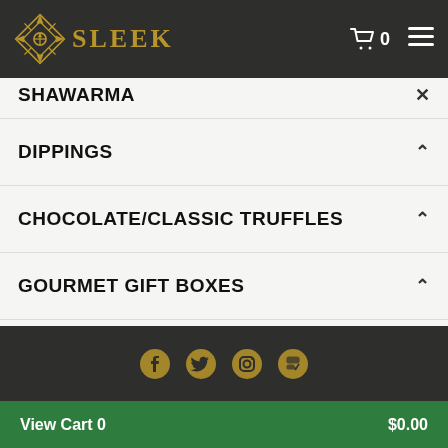[Figure (logo): Sleek brand logo with geometric star/diamond ornament in gold and the text SLEEK in gold serif letters]
SHAWARMA
DIPPINGS
CHOCOLATE/CLASSIC TRUFFLES
GOURMET GIFT BOXES
[Figure (illustration): Dark footer bar with social media icons (Facebook, Twitter, Instagram, and another) in gold/tan color]
View Cart 0   $0.00